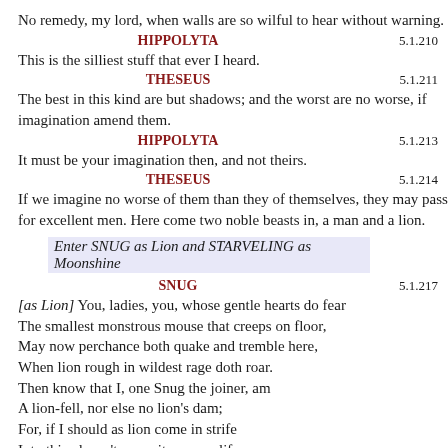No remedy, my lord, when walls are so wilful to hear without warning.
HIPPOLYTA
5.1.210
This is the silliest stuff that ever I heard.
THESEUS
5.1.211
The best in this kind are but shadows; and the worst are no worse, if imagination amend them.
HIPPOLYTA
5.1.213
It must be your imagination then, and not theirs.
THESEUS
5.1.214
If we imagine no worse of them than they of themselves, they may pass for excellent men. Here come two noble beasts in, a man and a lion.
Enter SNUG as Lion and STARVELING as Moonshine
SNUG
5.1.217
[as Lion] You, ladies, you, whose gentle hearts do fear
The smallest monstrous mouse that creeps on floor,
May now perchance both quake and tremble here,
When lion rough in wildest rage doth roar.
Then know that I, one Snug the joiner, am
A lion-fell, nor else no lion's dam;
For, if I should as lion come in strife
Into this place, 'twere pity on my life.
THESEUS
5.1.275